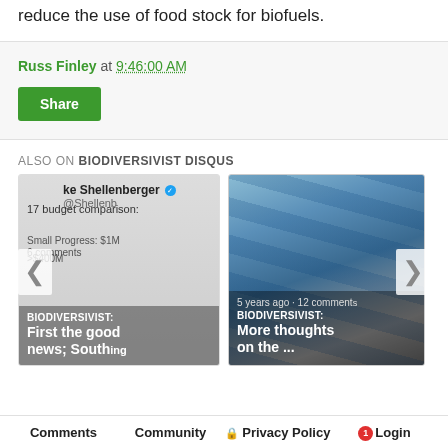reduce the use of food stock for biofuels.
Russ Finley at 9:46:00 AM
Share
ALSO ON BIODIVERSIVIST DISQUS
[Figure (screenshot): Two article preview cards from BIODIVERSIVIST Disqus. Left card shows a tweet by ke Shellenberger @Shellenberger with text '17 budget comparison:' and overlay text 'BIODIVERSIVIST: First the good news; South'. Right card shows a photo of solar panels with overlay text '5 years ago • 12 comments' and 'BIODIVERSIVIST: More thoughts on the ...']
Comments  Community  Privacy Policy  Login